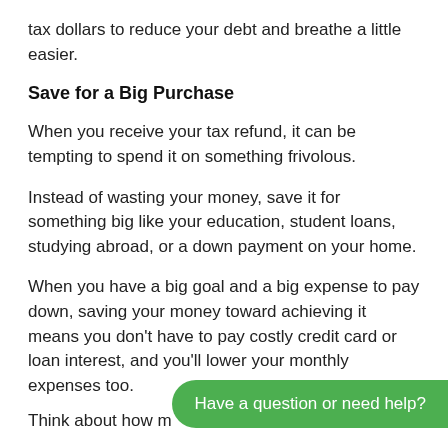tax dollars to reduce your debt and breathe a little easier.
Save for a Big Purchase
When you receive your tax refund, it can be tempting to spend it on something frivolous.
Instead of wasting your money, save it for something big like your education, student loans, studying abroad, or a down payment on your home.
When you have a big goal and a big expense to pay down, saving your money toward achieving it means you don't have to pay costly credit card or loan interest, and you'll lower your monthly expenses too.
Think about how m
Have a question or need help?